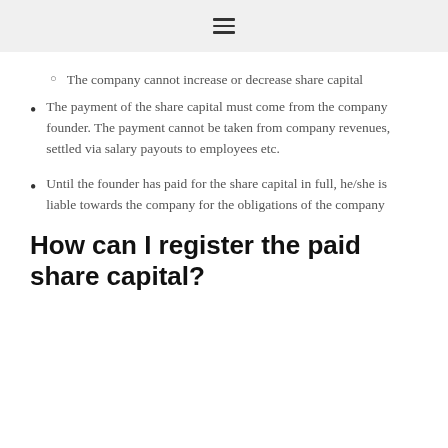≡
The company cannot increase or decrease share capital
The payment of the share capital must come from the company founder. The payment cannot be taken from company revenues, settled via salary payouts to employees etc.
Until the founder has paid for the share capital in full, he/she is liable towards the company for the obligations of the company
How can I register the paid share capital?